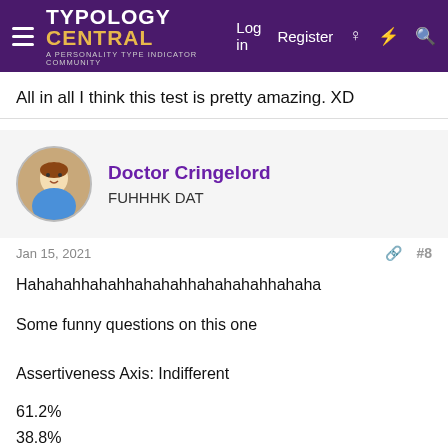TYPOLOGY CENTRAL — A Personality Type Indicator Community | Log in | Register
All in all I think this test is pretty amazing. XD
Doctor Cringelord
FUHHHK DAT
Jan 15, 2021  #8
Hahahahhahahhahahahhahahahahhahaha
Some funny questions on this one
Assertiveness Axis: Indifferent
61.2%
38.8%
Enthusiasm Axis: Quiet